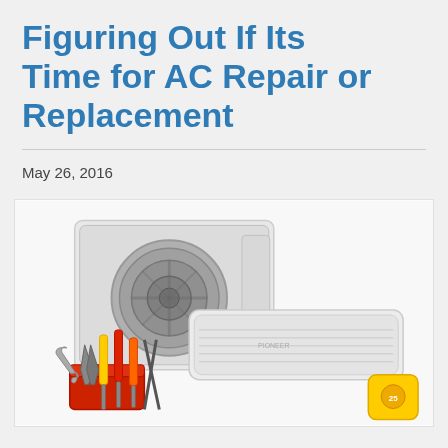Figuring Out If Its Time for AC Repair or Replacement
May 26, 2016
[Figure (photo): Photo of two white split air conditioning units (an outdoor compressor unit and an indoor wall-mounted unit) along with a collection of hand tools including screwdrivers, a wrench, pliers, and a tape measure in a red toolbox, all arranged on a white background.]